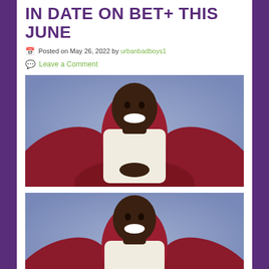IN DATE ON BET+ THIS JUNE
Posted on May 26, 2022 by urbanbadboys1
Leave a Comment
[Figure (photo): Man laughing and sitting in a red/burgundy stylized chair against a blue-gray background, wearing a white sweater, hands clasped together]
[Figure (photo): Same man laughing in red/burgundy stylized chair against a blue-gray background, wearing a white sweater - cropped version showing upper body]